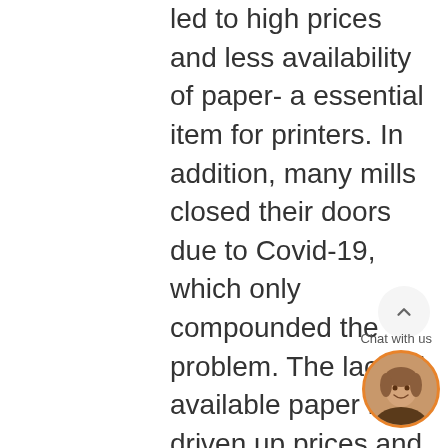led to high prices and less availability of paper- a essential item for printers. In addition, many mills closed their doors due to Covid-19, which only compounded the problem. The lack of available paper has driven up prices and left hotels struggling to find ways to keep up with customer demand. What can you do as a commercial print and direct mail house? Mid-sized mills went out of business during Covid leading to further reductions in overall capacity so its important to stock up on paper ahead of time. Additionally,
[Figure (other): Scroll-to-top button (circular grey button with upward arrow)]
[Figure (other): Chat with us widget showing a smiling woman avatar with orange border and 'Chat with us' label]